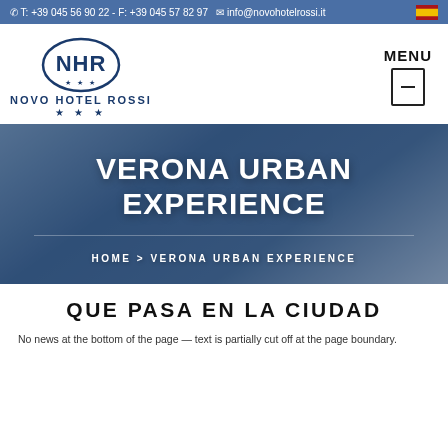T: +39 045 56 90 22 - F: +39 045 57 82 97   info@novohotelrossi.it
[Figure (logo): Novo Hotel Rossi logo with NHR initials in oval, three stars, text NOVO HOTEL ROSSI]
VERONA URBAN EXPERIENCE
HOME > VERONA URBAN EXPERIENCE
QUE PASA EN LA CIUDAD
No text visible at bottom (partial)